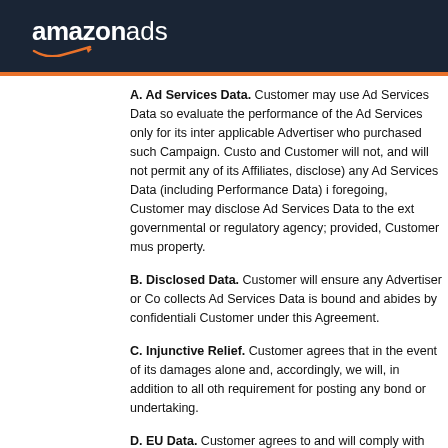amazonads
A. Ad Services Data. Customer may use Ad Services Data so evaluate the performance of the Ad Services only for its inter applicable Advertiser who purchased such Campaign. Custo and Customer will not, and will not permit any of its Affiliates, disclose) any Ad Services Data (including Performance Data) i foregoing, Customer may disclose Ad Services Data to the ext governmental or regulatory agency; provided, Customer mus property.
B. Disclosed Data. Customer will ensure any Advertiser or Co collects Ad Services Data is bound and abides by confidentiali Customer under this Agreement.
C. Injunctive Relief. Customer agrees that in the event of its damages alone and, accordingly, we will, in addition to all oth requirement for posting any bond or undertaking.
D. EU Data. Customer agrees to and will comply with the EU D
E. BR Data. Customer agrees to and will comply with the BR D